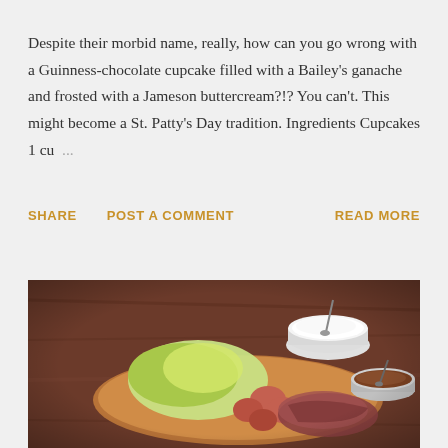Despite their morbid name, really, how can you go wrong with a Guinness-chocolate cupcake filled with a Bailey's ganache and frosted with a Jameson buttercream?!? You can't. This might become a St. Patty's Day tradition. Ingredients Cupcakes 1 cu ...
SHARE
POST A COMMENT
READ MORE
[Figure (photo): A food photo showing a wooden serving board with corned beef, cabbage, and small red potatoes, accompanied by two white ramekins — one with sour cream and a spoon, one with a brown sauce and a spoon.]